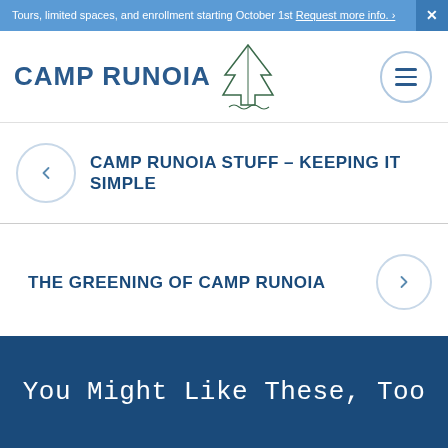Tours, limited spaces, and enrollment starting October 1st Request more info. ›
[Figure (logo): Camp Runoia logo with pine tree illustration and text CAMP RUNOIA]
CAMP RUNOIA STUFF – KEEPING IT SIMPLE
THE GREENING OF CAMP RUNOIA
You Might Like These, Too